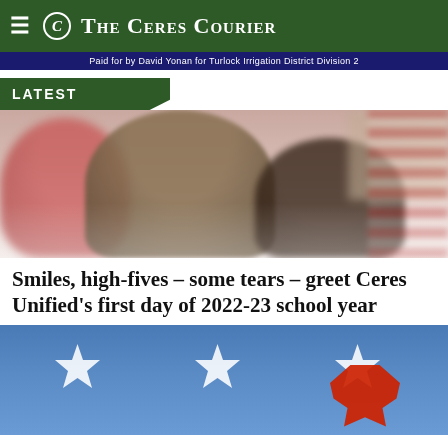The Ceres Courier
Paid for by David Yonan for Turlock Irrigation District Division 2
LATEST
[Figure (photo): Photo of students on first day of school, blurry people, one in red shirt]
Smiles, high-fives – some tears – greet Ceres Unified's first day of 2022-23 school year
[Figure (photo): Blue background with white stars and red map shape, council race article image]
Two council races still open for candidates
[Figure (photo): City council meeting room with people seated at a table, flags visible]
City plans...council...deal with ARPA